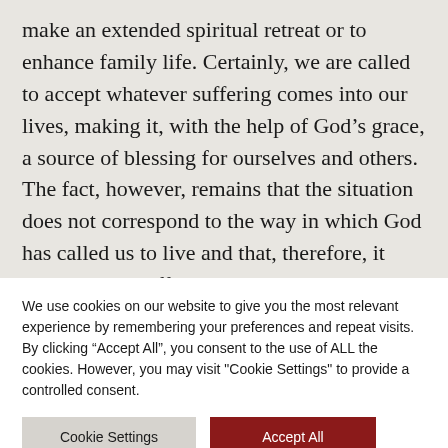make an extended spiritual retreat or to enhance family life. Certainly, we are called to accept whatever suffering comes into our lives, making it, with the help of God's grace, a source of blessing for ourselves and others. The fact, however, remains that the situation does not correspond to the way in which God has called us to live and that, therefore, it constitutes a suffering. We cannot ignore the widespread
We use cookies on our website to give you the most relevant experience by remembering your preferences and repeat visits. By clicking "Accept All", you consent to the use of ALL the cookies. However, you may visit "Cookie Settings" to provide a controlled consent.